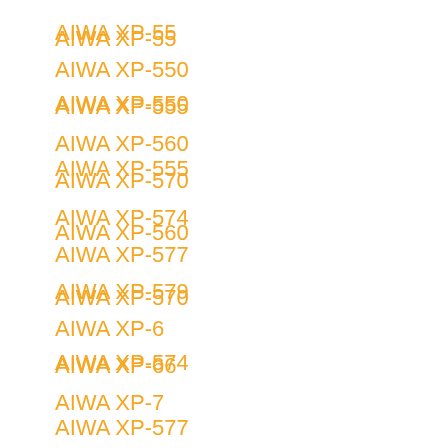AIWA XP-55
AIWA XP-550
AIWA XP-555
AIWA XP-560
AIWA XP-570
AIWA XP-574
AIWA XP-577
AIWA XP-579
AIWA XP-6
AIWA XP-66
AIWA XP-7